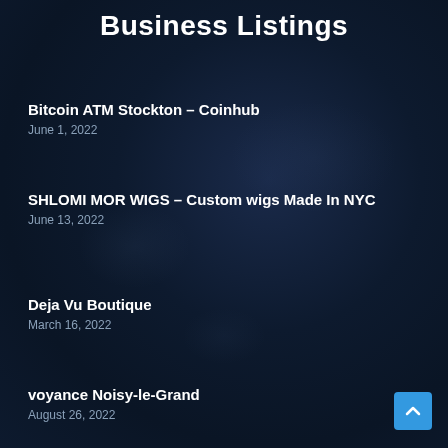Business Listings
Bitcoin ATM Stockton – Coinhub
June 1, 2022
SHLOMI MOR WIGS – Custom wigs Made In NYC
June 13, 2022
Deja Vu Boutique
March 16, 2022
voyance Noisy-le-Grand
August 26, 2022